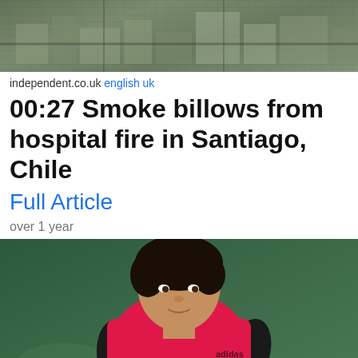[Figure (photo): Aerial view of buildings, likely a hospital area in Santiago, Chile]
independent.co.uk english uk
00:27 Smoke billows from hospital fire in Santiago, Chile
Full Article
over 1 year
[Figure (photo): Young male tennis player in red shirt and black arm sleeves, holding a tennis racket in a ready position]
oneindia.com english in